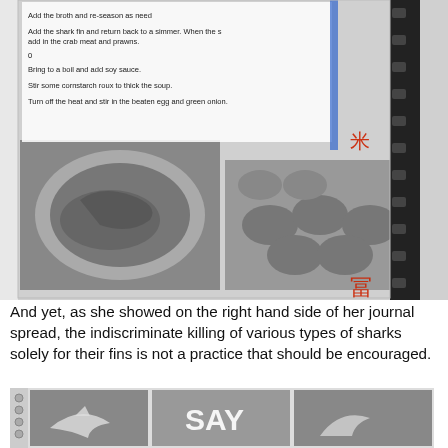[Figure (photo): A journal spread showing black and white photographs of food bowls (soup with noodles, various small dishes) alongside handwritten/printed recipe text with steps including adding shark fin, crab meat, prawns, soy sauce, cornstarch roux, and beaten egg with green onion. Red stamp-like decorations visible on the page.]
And yet, as she showed on the right hand side of her journal spread, the indiscriminate killing of various types of sharks solely for their fins is not a practice that should be encouraged.
[Figure (photo): A journal spread showing black and white photographs related to sharks, with text overlay including 'SAY' visible, and images of sharks and shark fins.]